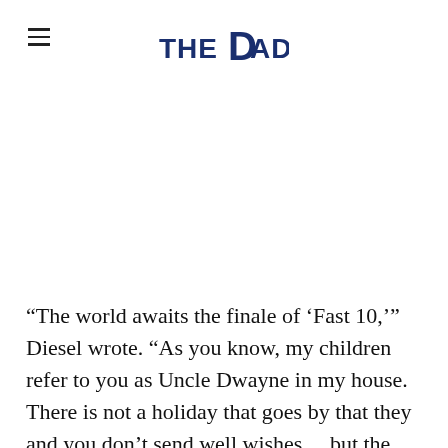THE DAD
“The world awaits the finale of ‘Fast 10,’” Diesel wrote. “As you know, my children refer to you as Uncle Dwayne in my house. There is not a holiday that goes by that they and you don’t send well wishes… but the time has come. Legacy awaits. I told you years ago that I was